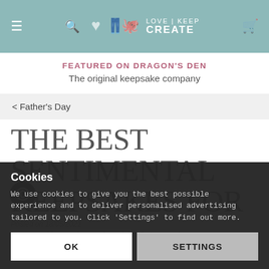LOVE KEEP CREATE — navigation bar with menu, search, logo, and cart icons
FEATURED ON DRAGON'S DEN
The original keepsake company
< Father's Day
THE BEST SENTIMENTAL KEEPSAKES FOR FATHER'S DAY
Posted on 18/05/2021
© ath... d our beautiful keepsakes. Our...
Cookies
We use cookies to give you the best possible experience and to deliver personalised advertising tailored to you. Click 'Settings' to find out more.
OK
SETTINGS